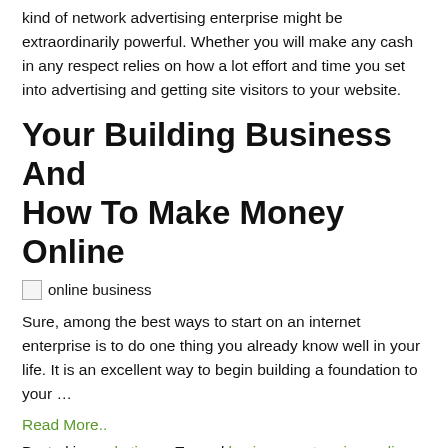kind of network advertising enterprise might be extraordinarily powerful. Whether you will make any cash in any respect relies on how a lot effort and time you set into advertising and getting site visitors to your website.
Your Building Business And How To Make Money Online
[Figure (photo): Broken image placeholder labeled 'online business']
Sure, among the best ways to start on an internet enterprise is to do one thing you already know well in your life. It is an excellent way to begin building a foundation to your …
Read More..
Posted in marketing    Tagged business, enterprise, online, reinvention